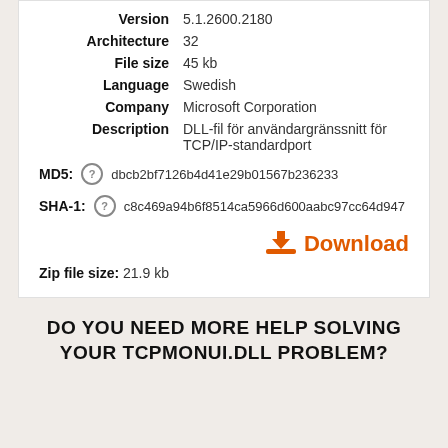| Property | Value |
| --- | --- |
| Version | 5.1.2600.2180 |
| Architecture | 32 |
| File size | 45 kb |
| Language | Swedish |
| Company | Microsoft Corporation |
| Description | DLL-fil för användargränssnitt för TCP/IP-standardport |
MD5: dbcb2bf7126b4d41e29b01567b236233
SHA-1: c8c469a94b6f8514ca5966d600aabc97cc64d947
Download
Zip file size: 21.9 kb
DO YOU NEED MORE HELP SOLVING YOUR TCPMONUI.DLL PROBLEM?